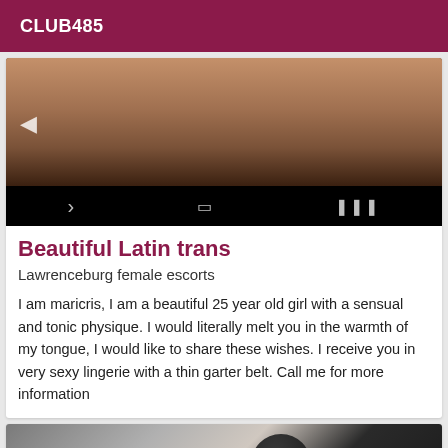CLUB485
[Figure (photo): Partial body photo of a person with a navigation arrow on left and mobile navigation bar at bottom]
Beautiful Latin trans
Lawrenceburg female escorts
I am maricris, I am a beautiful 25 year old girl with a sensual and tonic physique. I would literally melt you in the warmth of my tongue, I would like to share these wishes. I receive you in very sexy lingerie with a thin garter belt. Call me for more information
[Figure (photo): Photo of a person in dark clothing against a curtained background]